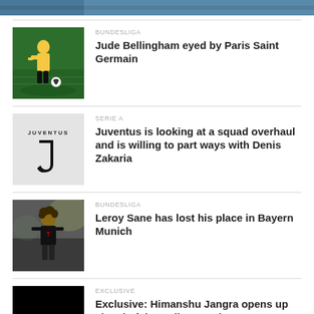[Figure (photo): Partial top image strip (cropped photo at top)]
[Figure (photo): Jude Bellingham in Borussia Dortmund yellow kit dribbling a football on green pitch]
BUNDESLIGA
Jude Bellingham eyed by Paris Saint Germain
[Figure (logo): Juventus FC logo on light grey background]
SERIE A
Juventus is looking at a squad overhaul and is willing to part ways with Denis Zakaria
[Figure (photo): Leroy Sane in Bayern Munich black kit]
BUNDESLIGA
Leroy Sane has lost his place in Bayern Munich
[Figure (photo): Dark/black image thumbnail]
EXCLUSIVE
Exclusive: Himanshu Jangra opens up ahead of the Kolkata Derby